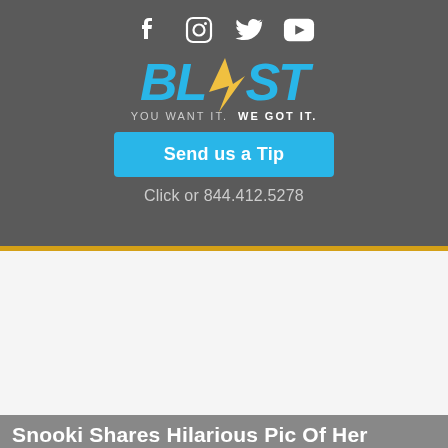[Figure (logo): BLAST media logo with social media icons (Facebook, Instagram, Twitter, YouTube), blue lightning star, tagline 'YOU WANT IT. WE GOT IT.']
Send us a Tip
Click or 844.412.5278
Snooki Shares Hilarious Pic Of Her Daughter Getting Fake Arrested: 'SHES A GOOD